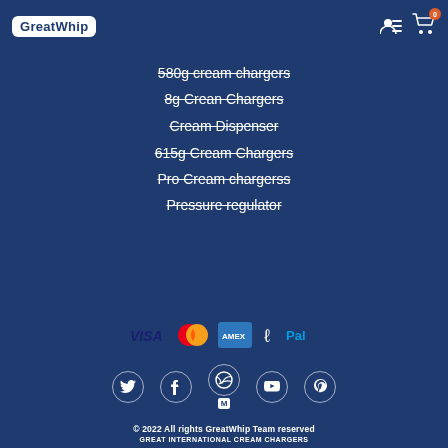GreatWhip
580g cream chargers
8g Crean Chargers
Cream Dispenser
615g Cream Chargers
Pro Cream chargerss
Pressure regulator
[Figure (logo): Payment method icons: Visa, Mastercard, American Express, and PayPal]
[Figure (infographic): Social media icons: Twitter, Facebook, Dribbble/Medium, YouTube, Pinterest]
© 2022 All rights GreatWhip Team reserved